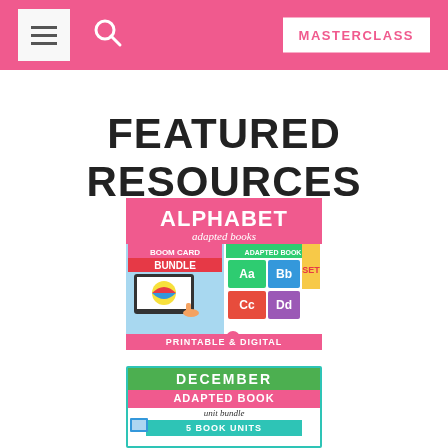MASTERCLASS
FEATURED RESOURCES
[Figure (illustration): Alphabet Adapted Books product cover showing Boom Card Bundle and Adapted Book Set, Printable & Digital, 26 Decks, Alphabet Books A-Z]
[Figure (illustration): December Adapted Book unit bundle cover showing 5 Book Units with pink header]